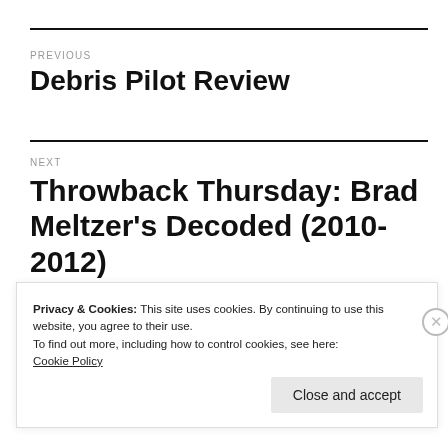PREVIOUS
Debris Pilot Review
NEXT
Throwback Thursday: Brad Meltzer's Decoded (2010-2012)
Privacy & Cookies: This site uses cookies. By continuing to use this website, you agree to their use.
To find out more, including how to control cookies, see here:
Cookie Policy